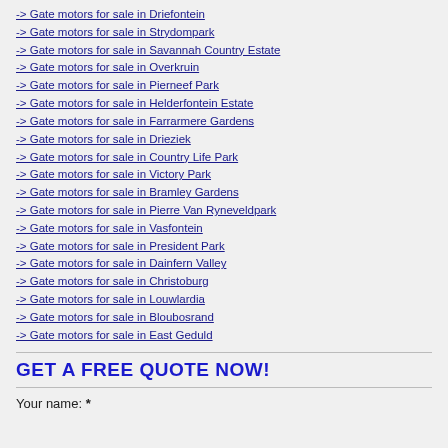-> Gate motors for sale in Driefontein
-> Gate motors for sale in Strydompark
-> Gate motors for sale in Savannah Country Estate
-> Gate motors for sale in Overkruin
-> Gate motors for sale in Pierneef Park
-> Gate motors for sale in Helderfontein Estate
-> Gate motors for sale in Farrarmere Gardens
-> Gate motors for sale in Drieziek
-> Gate motors for sale in Country Life Park
-> Gate motors for sale in Victory Park
-> Gate motors for sale in Bramley Gardens
-> Gate motors for sale in Pierre Van Ryneveldpark
-> Gate motors for sale in Vasfontein
-> Gate motors for sale in President Park
-> Gate motors for sale in Dainfern Valley
-> Gate motors for sale in Christoburg
-> Gate motors for sale in Louwlardia
-> Gate motors for sale in Bloubosrand
-> Gate motors for sale in East Geduld
GET A FREE QUOTE NOW!
Your name: *